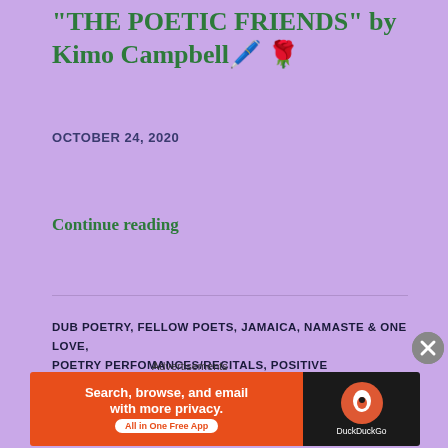"THE POETIC FRIENDS" by Kimo Campbell 🖊️🌹
OCTOBER 24, 2020
Continue reading
DUB POETRY, FELLOW POETS, JAMAICA, NAMASTE & ONE LOVE, POETRY PERFOMANCES/RECITALS, POSITIVE REINFORCEMENT, POSITIVE VIBES, PROMOTING OF OTHERS, UNIVERSAL CONNECTIONS, VIDEOS, VIRTUAL EVENT
LEAVE A COMMENT
[Figure (photo): Poetry banner image with large bold text 'POETRY' on a blue background]
Advertisements
[Figure (screenshot): DuckDuckGo advertisement: 'Search, browse, and email with more privacy. All in One Free App' with DuckDuckGo logo on dark background]